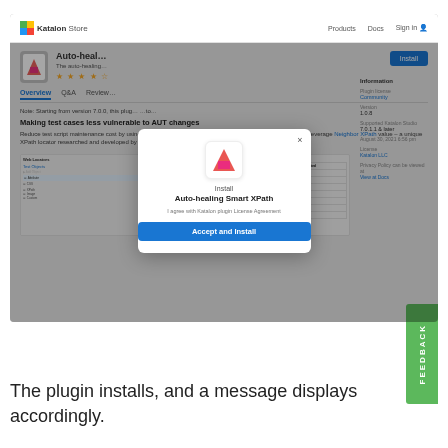[Figure (screenshot): Screenshot of Katalon Store plugin page for 'Auto-healing Smart XPath' with an install modal dialog open. The modal shows the plugin icon, 'Install' label, plugin name 'Auto-healing Smart XPath', a license agreement link, and 'Accept and Install' button. A green FEEDBACK button is visible on the right side.]
The plugin installs, and a message displays accordingly.